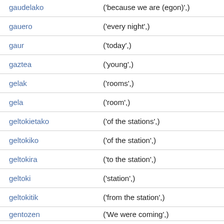| gaudelako | ('because we are (egon)',) |
| gauero | ('every night',) |
| gaur | ('today',) |
| gaztea | ('young',) |
| gelak | ('rooms',) |
| gela | ('room',) |
| geltokietako | ('of the stations',) |
| geltokiko | ('of the station',) |
| geltokira | ('to the station',) |
| geltoki | ('station',) |
| geltokitik | ('from the station',) |
| gentozen | ('We were coming',) |